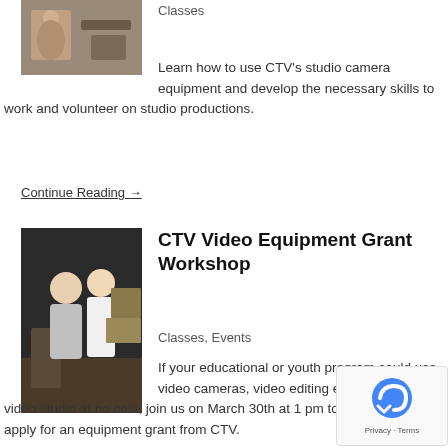[Figure (photo): Photo of a person at a studio camera setup]
Classes
Learn how to use CTV's studio camera equipment and develop the necessary skills to work and volunteer on studio productions.
Continue Reading →
[Figure (photo): Photo of two people standing together at an event]
CTV Video Equipment Grant Workshop
Classes, Events
If your educational or youth program could use, video cameras, video editing equipment or a video studio at no cost, join us on March 30th at 1 pm to learn how to apply for an equipment grant from CTV.
Continue Reading →
[Figure (logo): reCAPTCHA badge with Privacy and Terms links]